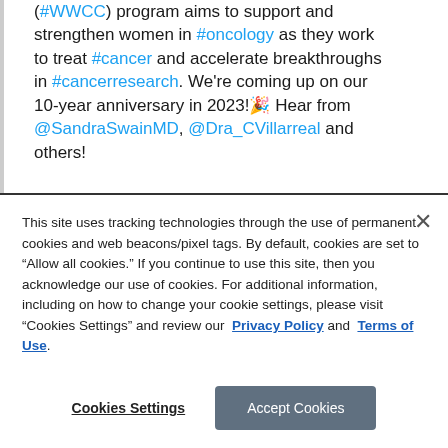(#WWCC) program aims to support and strengthen women in #oncology as they work to treat #cancer and accelerate breakthroughs in #cancerresearch. We're coming up on our 10-year anniversary in 2023!🎉 Hear from @SandraSwainMD, @Dra_CVillarreal and others!
This site uses tracking technologies through the use of permanent cookies and web beacons/pixel tags. By default, cookies are set to "Allow all cookies." If you continue to use this site, then you acknowledge our use of cookies. For additional information, including on how to change your cookie settings, please visit "Cookies Settings" and review our Privacy Policy and Terms of Use.